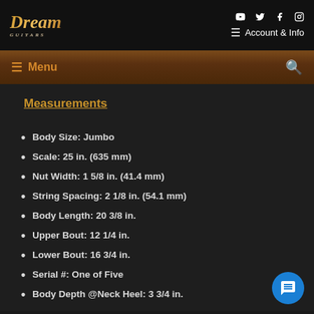Dream Guitars — Account & Info
Measurements
Body Size: Jumbo
Scale: 25 in. (635 mm)
Nut Width: 1 5/8 in. (41.4 mm)
String Spacing: 2 1/8 in. (54.1 mm)
Body Length: 20 3/8 in.
Upper Bout: 12 1/4 in.
Lower Bout: 16 3/4 in.
Serial #: One of Five
Body Depth @Neck Heel: 3 3/4 in.